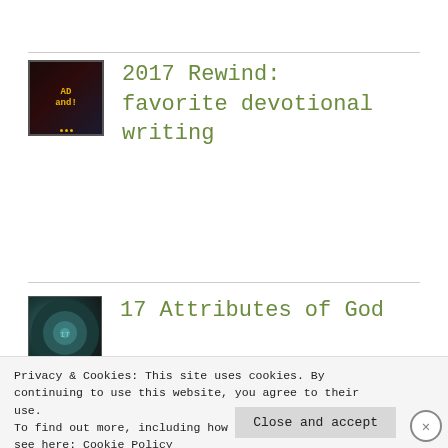[Figure (illustration): Thumbnail image with dark background and decorative text/dots for podcast or blog entry]
2017 Rewind: favorite devotional writing
[Figure (illustration): Thumbnail image with dark teal/circular elements for podcast or blog entry]
17 Attributes of God
Privacy & Cookies: This site uses cookies. By continuing to use this website, you agree to their use.
To find out more, including how to control cookies, see here: Cookie Policy
Close and accept